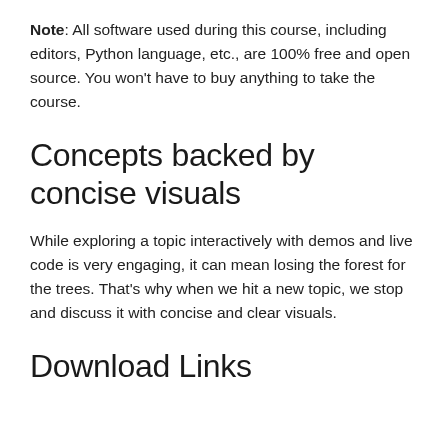Note: All software used during this course, including editors, Python language, etc., are 100% free and open source. You won't have to buy anything to take the course.
Concepts backed by concise visuals
While exploring a topic interactively with demos and live code is very engaging, it can mean losing the forest for the trees. That's why when we hit a new topic, we stop and discuss it with concise and clear visuals.
Download Links